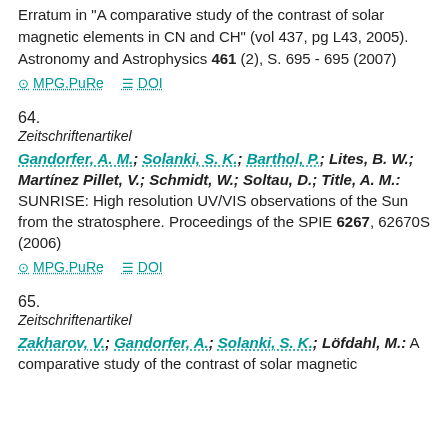Erratum in "A comparative study of the contrast of solar magnetic elements in CN and CH" (vol 437, pg L43, 2005). Astronomy and Astrophysics 461 (2), S. 695 - 695 (2007)
MPG.PuRe   DOI
64.
Zeitschriftenartikel
Gandorfer, A. M.; Solanki, S. K.; Barthol, P.; Lites, B. W.; Martínez Pillet, V.; Schmidt, W.; Soltau, D.; Title, A. M.: SUNRISE: High resolution UV/VIS observations of the Sun from the stratosphere. Proceedings of the SPIE 6267, 62670S (2006)
MPG.PuRe   DOI
65.
Zeitschriftenartikel
Zakharov, V.; Gandorfer, A.; Solanki, S. K.; Löfdahl, M.: A comparative study of the contrast of solar magnetic